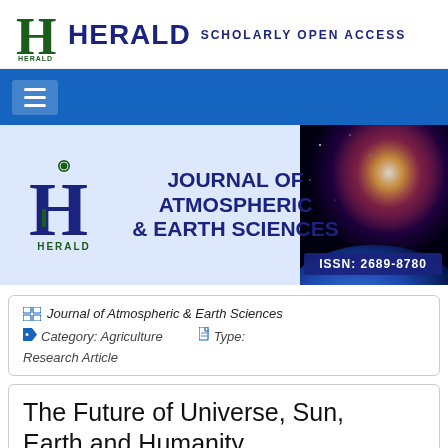HERALD SCHOLARLY OPEN ACCESS
[Figure (logo): Herald Scholarly Open Access logo with decorative H and journal name]
[Figure (illustration): Journal of Atmospheric & Earth Sciences banner with space/galaxy background image and ISSN: 2689-8780]
Journal of Atmospheric & Earth Sciences  Category: Agriculture  Type: Research Article
The Future of Universe, Sun, Earth and Humanity